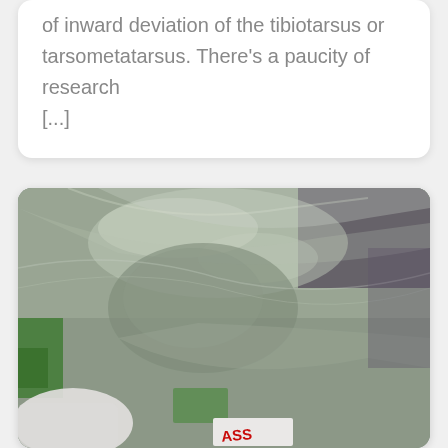of inward deviation of the tibiotarsus or tarsometatarsus. There's a paucity of research [...]
[Figure (photo): A photograph showing what appears to be a bird or small animal wrapped in plastic/clear wrap, being held. There is a small white label with red text reading 'ASS' visible at the bottom of the image. The image is blurry and taken at an angle.]